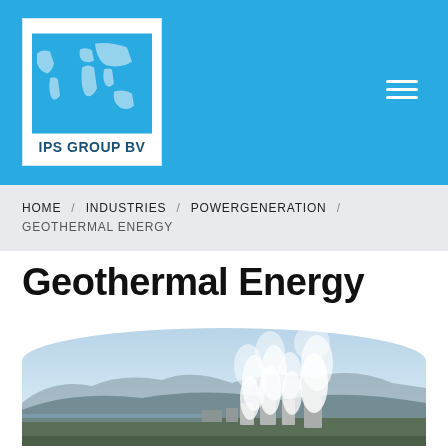[Figure (logo): IPS Group BV logo with world map on white background inside blue header]
HOME / INDUSTRIES / POWERGENERATION / GEOTHERMAL ENERGY
Geothermal Energy
[Figure (photo): Geothermal power plant with steam venting cooling towers against mountain landscape]